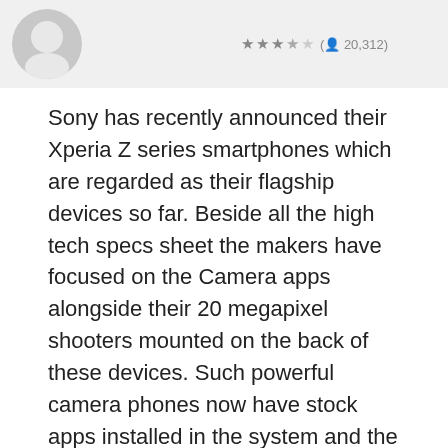[Figure (screenshot): Top banner showing partial app icon (circular, grey/white) on the left and a star rating (approximately 3.5 stars) with review count (20,312) on the right, on a light grey background.]
Sony has recently announced their Xperia Z series smartphones which are regarded as their flagship devices so far. Beside all the high tech specs sheet the makers have focused on the Camera apps alongside their 20 megapixel shooters mounted on the back of these devices. Such powerful camera phones now have stock apps installed in the system and the Sony Background Defocus imaging app is one of them.
The Background DeFocus app servers as a DSLR feature for the Xperia phones. The good